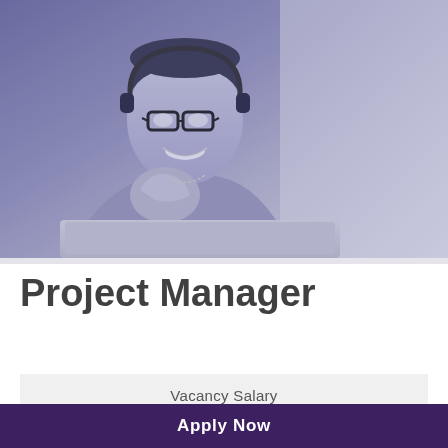[Figure (photo): A smiling woman wearing glasses and a headset, looking at a laptop, photo with purple/blue-grey tint overlay]
Project Manager
Vacancy Salary
Apply Now